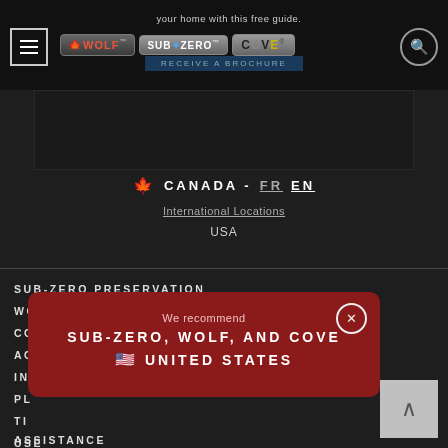your home with this free guide. WOLF SUB-ZERO COVE RECEIVE A BROCHURE
🍁 CANADA - FR EN
International Locations
USA
SUB-ZERO PRESERVATION
WOLF COOKING
COVE
ASSISTANCE
We recommend
SUB-ZERO, WOLF, AND COVE
🇺🇸 UNITED STATES